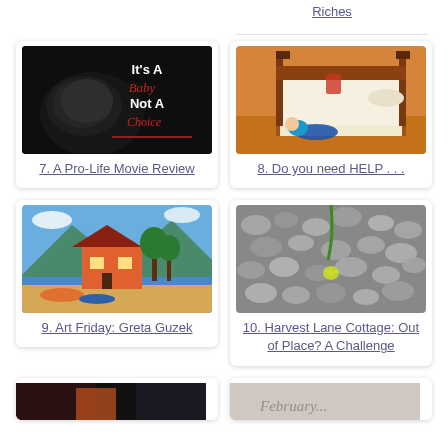Riches
[Figure (photo): Black and white photo of a baby with text overlay: It's A Baby, Not A Choice]
7. A Pro-Life Movie Review
[Figure (illustration): Painting of a four-poster bed with a child lying on the floor in colorful clothing]
8. Do you need HELP . . .
[Figure (illustration): Colorful painting of a lakeside cottage with boats on the shore and mountains in background]
9. Art Friday: Greta Guzek
[Figure (photo): Close-up photo of pebbles and stones with a yellow star-shaped object]
10. Harvest Lane Cottage: Out of Place? A Challenge
[Figure (photo): Partial image, dark tones]
[Figure (photo): Partial image with text 'February...']